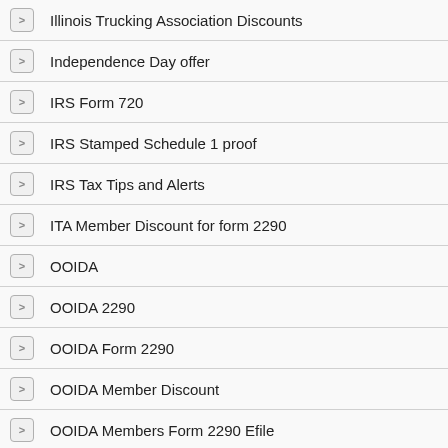Illinois Trucking Association Discounts
Independence Day offer
IRS Form 720
IRS Stamped Schedule 1 proof
IRS Tax Tips and Alerts
ITA Member Discount for form 2290
OOIDA
OOIDA 2290
OOIDA Form 2290
OOIDA Member Discount
OOIDA Members Form 2290 Efile
Owner–Operator Independent Drivers Association
PCOI fee online
PCORI
prefiling 2022